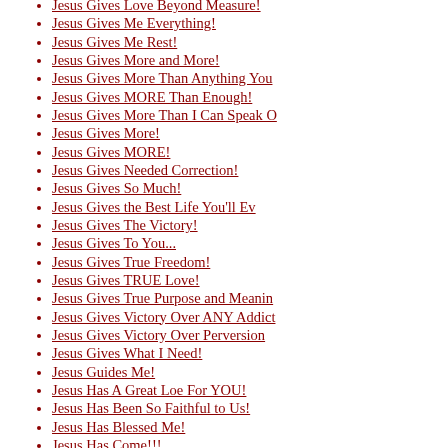Jesus Gives Love Beyond Measure!
Jesus Gives Me Everything!
Jesus Gives Me Rest!
Jesus Gives More and More!
Jesus Gives More Than Anything You
Jesus Gives MORE Than Enough!
Jesus Gives More Than I Can Speak O
Jesus Gives More!
Jesus Gives MORE!
Jesus Gives Needed Correction!
Jesus Gives So Much!
Jesus Gives the Best Life You'll Ev
Jesus Gives The Victory!
Jesus Gives To You...
Jesus Gives True Freedom!
Jesus Gives TRUE Love!
Jesus Gives True Purpose and Meanin
Jesus Gives Victory Over ANY Addict
Jesus Gives Victory Over Perversion
Jesus Gives What I Need!
Jesus Guides Me!
Jesus Has A Great Loe For YOU!
Jesus Has Been So Faithful to Us!
Jesus Has Blessed Me!
Jesus Has Come!!!
Jesus Has Come, That I May Know Him
Jesus Has Defeated Satan!
Jesus Has Done Many Good Things!
Jesus Has Done So Much for Me!
Jesus Has Done So Much for Me!
Jesus Has Done So Much For Me!